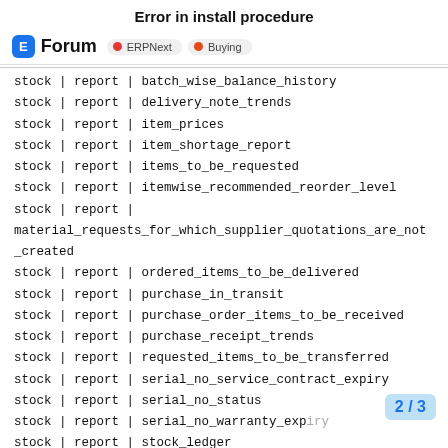Error in install procedure
Forum  • ERPNext  • Buying
stock | report | batch_wise_balance_history
stock | report | delivery_note_trends
stock | report | item_prices
stock | report | item_shortage_report
stock | report | items_to_be_requested
stock | report | itemwise_recommended_reorder_level
stock | report | material_requests_for_which_supplier_quotations_are_not_created
stock | report | ordered_items_to_be_delivered
stock | report | purchase_in_transit
stock | report | purchase_order_items_to_be_received
stock | report | purchase_receipt_trends
stock | report | requested_items_to_be_transferred
stock | report | serial_no_service_contract_expiry
stock | report | serial_no_status
stock | report | serial_no_warranty_expiry
stock | report | stock_ledger
stock | report | warehouse_wise_sto...